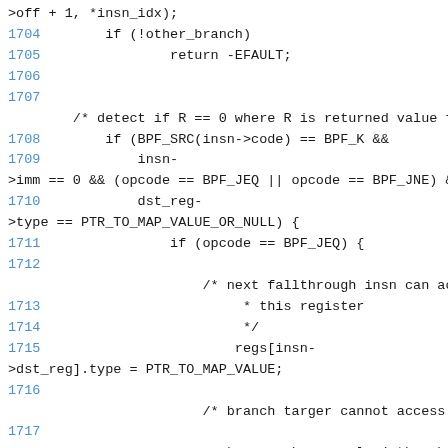Code snippet showing C source lines 1704-1718 of Linux BPF verifier